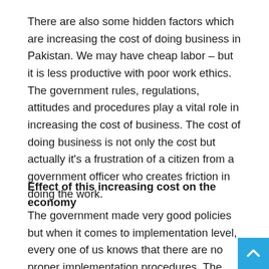There are also some hidden factors which are increasing the cost of doing business in Pakistan. We may have cheap labor – but it is less productive with poor work ethics. The government rules, regulations, attitudes and procedures play a vital role in increasing the cost of business. The cost of doing business is not only the cost but actually it's a frustration of a citizen from a government officer who creates friction in doing the work.
Effect of this increasing cost on the economy
The government made very good policies but when it comes to implementation level, every one of us knows that there are no proper implementation procedures. The high skilled workers of Pakistan and young and innovative entrepreneur